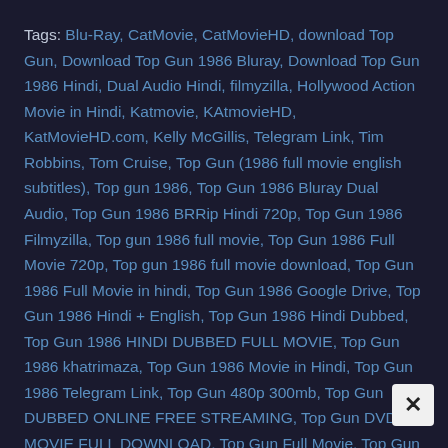Tags: Blu-Ray, CatMovie, CatMovieHD, download Top Gun, Download Top Gun 1986 Bluray, Download Top Gun 1986 Hindi, Dual Audio Hindi, filmyzilla, Hollywood Action Movie in Hindi, Katmovie, KAtmovieHD, KatMovieHD.com, Kelly McGillis, Telegram Link, Tim Robbins, Tom Cruise, Top Gun (1986 full movie english subtitles), Top gun 1986, Top Gun 1986 Bluray Dual Audio, Top Gun 1986 BRRip Hindi 720p, Top Gun 1986 Filmyzilla, Top gun 1986 full movie, Top Gun 1986 Full Movie 720p, Top gun 1986 full movie download, Top Gun 1986 Full Movie in hindi, Top Gun 1986 Google Drive, Top Gun 1986 Hindi + English, Top Gun 1986 Hindi Dubbed, Top Gun 1986 HINDI DUBBED FULL MOVIE, Top Gun 1986 khatrimaza, Top Gun 1986 Movie in Hindi, Top Gun 1986 Telegram Link, Top Gun 480p 300mb, Top Gun DUBBED ONLINE FREE STREAMING, Top Gun DVDRIP MOVIE FULL DOWNLOAD, Top Gun Full Movie, Top Gun full movie in hindi dubbed 720p, Top Gun full movie youtube, Top Gun FULL...